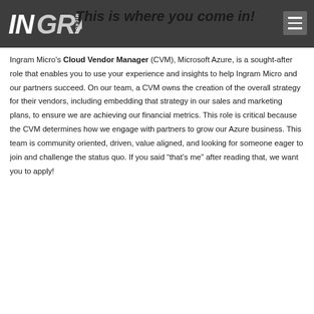Ingram Micro logo and navigation header
This is where you come in!
Ingram Micro's Cloud Vendor Manager (CVM), Microsoft Azure, is a sought-after role that enables you to use your experience and insights to help Ingram Micro and our partners succeed. On our team, a CVM owns the creation of the overall strategy for their vendors, including embedding that strategy in our sales and marketing plans, to ensure we are achieving our financial metrics. This role is critical because the CVM determines how we engage with partners to grow our Azure business. This team is community oriented, driven, value aligned, and looking for someone eager to join and challenge the status quo. If you said “that’s me” after reading that, we want you to apply!